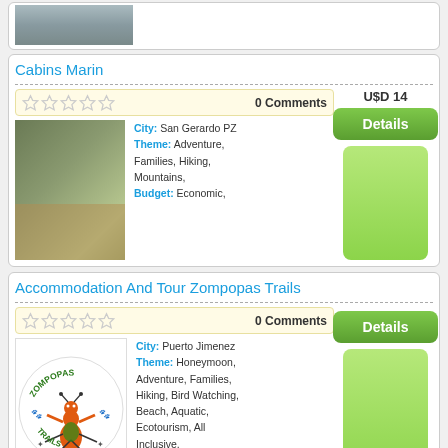[Figure (photo): Partial top card showing a landscape/beach photo]
Cabins Marin
0 Comments
USD 14
[Figure (photo): Cabin building with red roof surrounded by trees]
City: San Gerardo PZ
Theme: Adventure, Families, Hiking, Mountains,
Budget: Economic,
Accommodation And Tour Zompopas Trails
0 Comments
[Figure (logo): Zompopas Trails logo with ant character]
City: Puerto Jimenez
Theme: Honeymoon, Adventure, Families, Hiking, Bird Watching, Beach, Aquatic, Ecotourism, All Inclusive,
Budget: Standard,
1 ... 2 3 4 5 6 7 8 9 10 ... 13